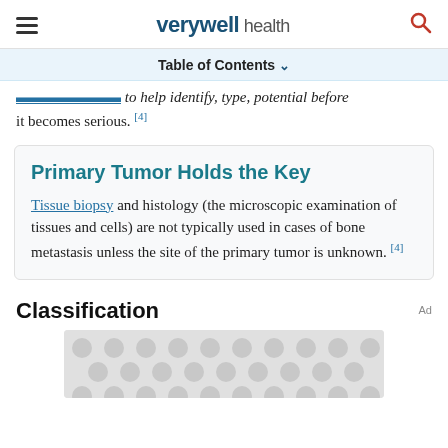verywell health
Table of Contents
...to help identify, type, potential before it becomes serious. [4]
Primary Tumor Holds the Key
Tissue biopsy and histology (the microscopic examination of tissues and cells) are not typically used in cases of bone metastasis unless the site of the primary tumor is unknown. [4]
Classification
[Figure (other): Advertisement placeholder with grey dot pattern background]